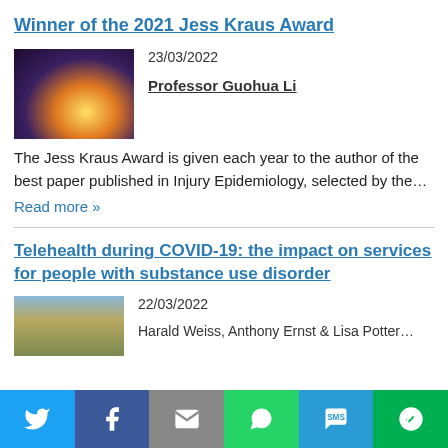Winner of the 2021 Jess Kraus Award
23/03/2022
Professor Guohua Li
[Figure (photo): Dark photo of candles or lights with red and purple decorative elements]
The Jess Kraus Award is given each year to the author of the best paper published in Injury Epidemiology, selected by the…
Read more »
Telehealth during COVID-19: the impact on services for people with substance use disorder
22/03/2022
[Figure (photo): Aerial photo of a dry landscape or field]
Harald Weiss, Anthony Ernst & Lisa Potter…